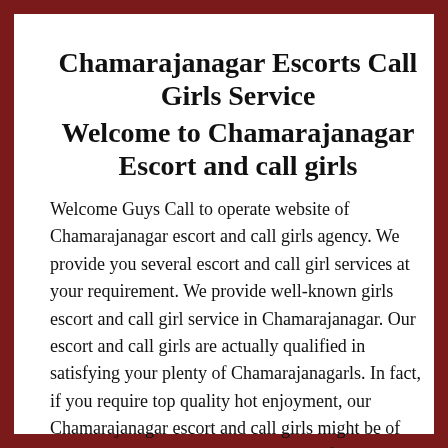Chamarajanagar Escorts Call Girls Service Welcome to Chamarajanagar Escort and call girls
Welcome Guys Call to operate website of Chamarajanagar escort and call girls agency. We provide you several escort and call girl services at your requirement. We provide well-known girls escort and call girl service in Chamarajanagar. Our escort and call girls are actually qualified in satisfying your plenty of Chamarajanagarls. In fact, if you require top quality hot enjoyment, our Chamarajanagar escort and call girls might be of complete help. Just seek the services of them to appreciate sexy along with pleasant services on cost-effective rates. Our escort